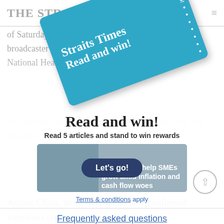THE STRAITS TIMES
of Saturday (Feb 1), up from the previous day, state broadcaster CCTV said on Sunday, citing the country's National Health Commission.
All the new deaths were in central Hubei province, the epicentre of the flu-like coronavirus outbreak.
[Figure (infographic): Teal promotional card rotated diagonally reading 'Straits Times Read and win!' with dotted border on right edge]
Read and win!
Read 5 articles and stand to win rewards
[Figure (screenshot): Advertisement image showing a person and text 'Smart tools help SMEs grow amid inflation and cash flow woes' with a 'Find out more' button, overlaid with a 'Let's go!' dark blue rounded button]
Terms & conditions apply
Frequently asked questions
Across China, there were 2,590 new confirmed infections on Saturday, bringing the total